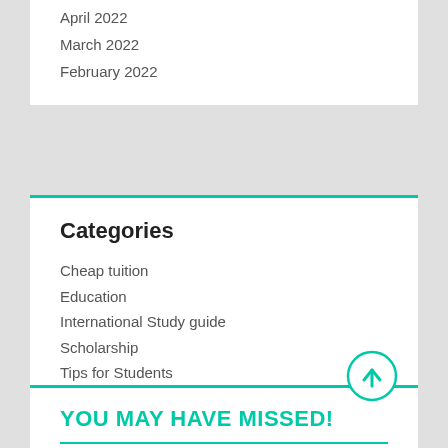April 2022
March 2022
February 2022
Categories
Cheap tuition
Education
International Study guide
Scholarship
Tips for Students
YOU MAY HAVE MISSED!